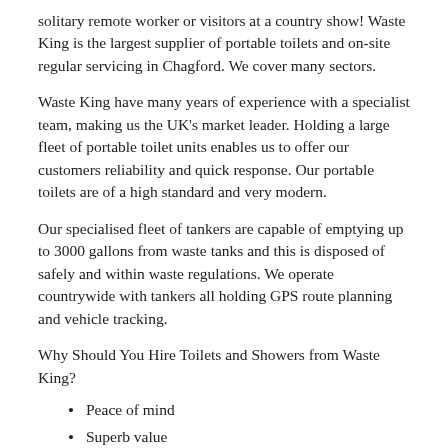solitary remote worker or visitors at a country show!  Waste King is the largest supplier of portable toilets and on-site regular servicing in Chagford.  We cover many sectors.
Waste King have many years of experience with a specialist team, making us the UK's market leader.  Holding a large fleet of portable toilet units enables us to offer our customers reliability and quick response.  Our portable toilets are of a high standard and very modern.
Our specialised fleet of tankers are capable of emptying up to 3000 gallons from waste tanks and this is disposed of safely and within waste regulations.  We operate countrywide with tankers all holding GPS route planning and vehicle tracking.
Why Should You Hire Toilets and Showers from Waste King?
Peace of mind
Superb value
Convenient
Availability
Exceptional...